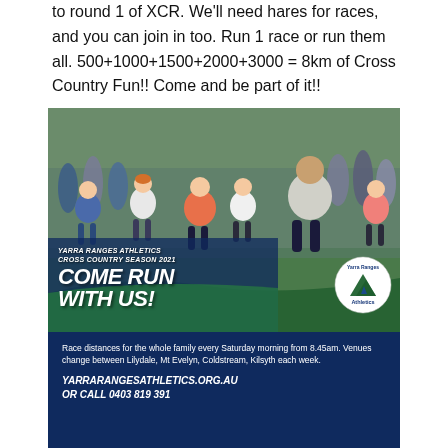to round 1 of XCR. We'll need hares for races, and you can join in too. Run 1 race or run them all. 500+1000+1500+2000+3000 = 8km of Cross Country Fun!! Come and be part of it!!
[Figure (photo): Promotional poster for Yarra Ranges Athletics Cross Country Season 2021. Top portion shows a photo of children running in a cross country race on grass. Overlaid text reads 'YARRA RANGES ATHLETICS CROSS COUNTRY SEASON 2021' and large bold italic text 'COME RUN WITH US!' with the Yarra Ranges Athletics logo (circular with mountain/triangle design). Bottom dark navy blue section contains text: 'Race distances for the whole family every Saturday morning from 8.45am. Venues change between Lilydale, Mt Evelyn, Coldstream, Kilsyth each week.' and bold italic URL 'YARRARANGESATHLETICS.ORG.AU' and 'OR CALL 0403 819 391'.]